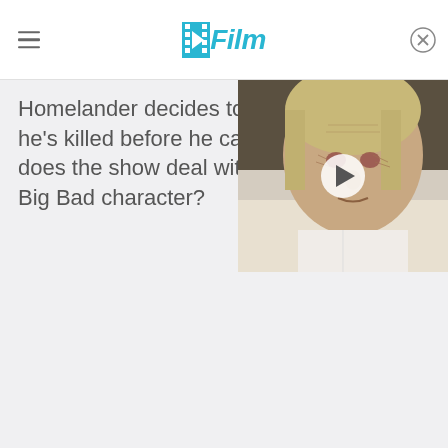/Film
Homelander decides to bur... he's killed before he can bu... does the show deal with no... Big Bad character?
[Figure (screenshot): Video thumbnail showing an elderly person lying in bed, with a play button overlay. Video player overlay on top of article content.]